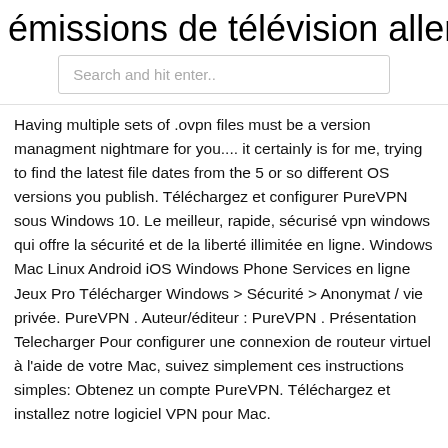émissions de télévision allemandes
Search and hit enter..
Having multiple sets of .ovpn files must be a version managment nightmare for you.... it certainly is for me, trying to find the latest file dates from the 5 or so different OS versions you publish. Téléchargez et configurer PureVPN sous Windows 10. Le meilleur, rapide, sécurisé vpn windows qui offre la sécurité et de la liberté illimitée en ligne. Windows Mac Linux Android iOS Windows Phone Services en ligne Jeux Pro Télécharger Windows > Sécurité > Anonymat / vie privée. PureVPN . Auteur/éditeur : PureVPN . Présentation Telecharger Pour configurer une connexion de routeur virtuel à l'aide de votre Mac, suivez simplement ces instructions simples: Obtenez un compte PureVPN. Téléchargez et installez notre logiciel VPN pour Mac.
PureVPN is a VPN service which offers state-of-the-art encryption, complete anonymity and dozens of